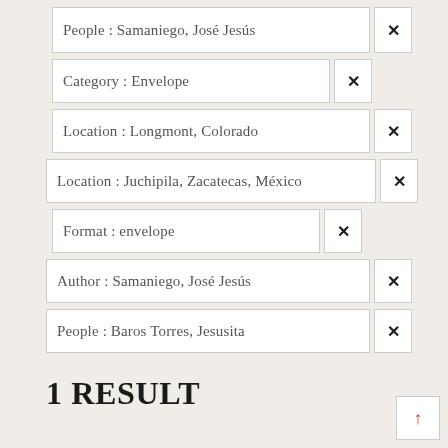People : Samaniego, José Jesús ✕
Category : Envelope ✕
Location : Longmont, Colorado ✕
Location : Juchipila, Zacatecas, México ✕
Format : envelope ✕
Author : Samaniego, José Jesús ✕
People : Baros Torres, Jesusita ✕
1 RESULT